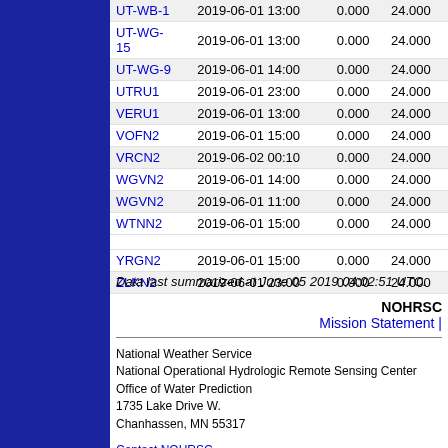| Station | Date/Time | Value1 | Value2 |
| --- | --- | --- | --- |
| UT-WB-1 | 2019-06-01 13:00 | 0.000 | 24.000 |
| UT-WG-15 | 2019-06-01 13:00 | 0.000 | 24.000 |
| UT-WG-9 | 2019-06-01 14:00 | 0.000 | 24.000 |
| UTRU1 | 2019-06-01 23:00 | 0.000 | 24.000 |
| VERU1 | 2019-06-01 13:00 | 0.000 | 24.000 |
| VOFN2 | 2019-06-01 15:00 | 0.000 | 24.000 |
| VRCN2 | 2019-06-02 00:10 | 0.000 | 24.000 |
| WGVN2 | 2019-06-01 14:00 | 0.000 | 24.000 |
| WGVN2 | 2019-06-01 11:00 | 0.000 | 24.000 |
| WTNN2 | 2019-06-01 15:00 | 0.000 | 24.000 |
| YRGN2 | 2019-06-01 15:00 | 0.000 | 24.000 |
| ZLKN2 | 2019-06-01 23:00 | 0.000 | 24.000 |
Data last summarized at June 05 2019 04:02:51 UTC.
NOHRSC
Mission Statement |
National Weather Service
National Operational Hydrologic Remote Sensing Center
Office of Water Prediction
1735 Lake Drive W.
Chanhassen, MN 55317
Contact NOHRSC
Glossary
Credits
Information Quality
Page last modified: Jan 28, 2016